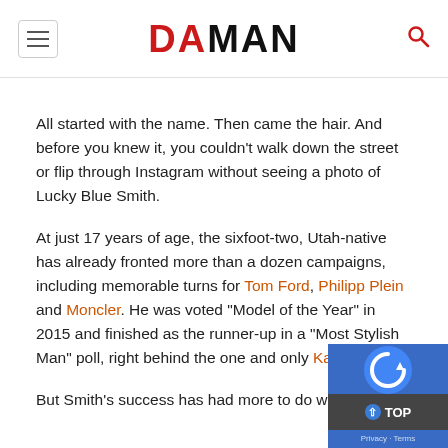DA MAN
All started with the name. Then came the hair. And before you knew it, you couldn’t walk down the street or flip through Instagram without seeing a photo of Lucky Blue Smith.
At just 17 years of age, the sixfoot-two, Utah-native has already fronted more than a dozen campaigns, including memorable turns for Tom Ford, Philipp Plein and Moncler. He was voted “Model of the Year” in 2015 and finished as the runner-up in a “Most Stylish Man” poll, right behind the one and only Kanye West.
But Smith’s success has had more to do with his